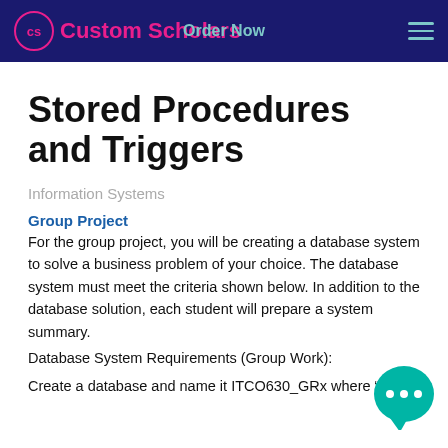Custom Scholars | Order Now
Stored Procedures and Triggers
Information Systems
Group Project
For the group project, you will be creating a database system to solve a business problem of your choice. The database system must meet the criteria shown below. In addition to the database solution, each student will prepare a system summary.
Database System Requirements (Group Work):
Create a database and name it ITCO630_GRx where "x" is